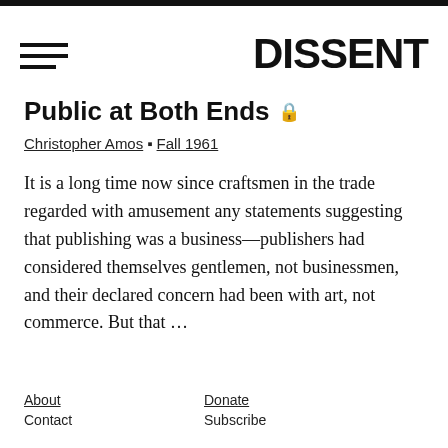DISSENT
Public at Both Ends 🔒
Christopher Amos • Fall 1961
It is a long time now since craftsmen in the trade regarded with amusement any statements suggesting that publishing was a business—publishers had considered themselves gentlemen, not businessmen, and their declared concern had been with art, not commerce. But that ...
About  Contact  Donate  Subscribe